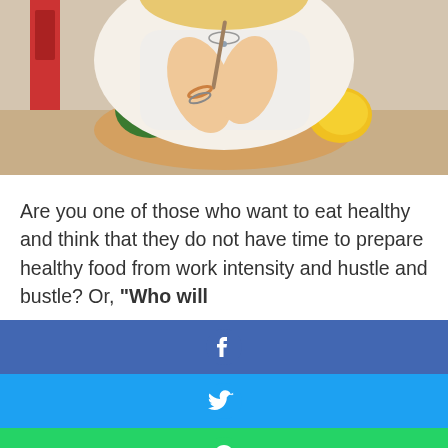[Figure (photo): Woman in white t-shirt holding vegetables including broccoli, carrots, mushrooms and a lemon in a kitchen setting]
Are you one of those who want to eat healthy and think that they do not have time to prepare healthy food from work intensity and hustle and bustle? Or, “Who will
[Figure (infographic): Facebook share button - blue bar with Facebook icon]
[Figure (infographic): Twitter share button - light blue bar with Twitter bird icon]
[Figure (infographic): WhatsApp share button - green bar with WhatsApp icon]
[Figure (infographic): Telegram share button - teal/blue bar with Telegram icon]